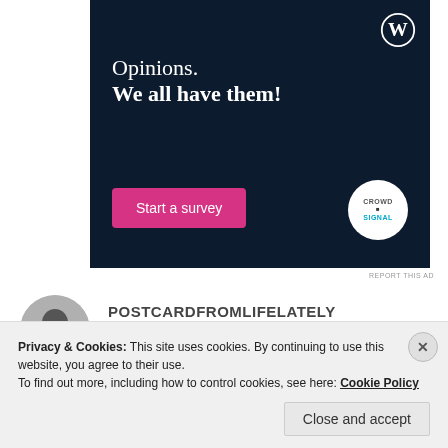[Figure (screenshot): WordPress/Crowdsignal advertisement with dark navy background. Text reads 'Opinions. We all have them!' with a pink 'Start a survey' button and Crowdsignal logo circle. WordPress 'W' logo in top right corner.]
REPORT THIS AD
POSTCARDFROMLIFELATELY
Privacy & Cookies: This site uses cookies. By continuing to use this website, you agree to their use.
To find out more, including how to control cookies, see here: Cookie Policy
Close and accept